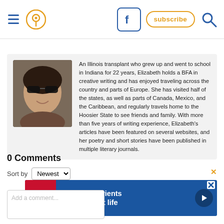Navigation header with hamburger menu, pin/location icon, Facebook icon, subscribe button, and search icon
[Figure (photo): Headshot photo of a woman wearing dark sunglasses, smiling]
An Illinois transplant who grew up and went to school in Indiana for 22 years, Elizabeth holds a BFA in creative writing and has enjoyed traveling across the country and parts of Europe. She has visited half of the states, as well as parts of Canada, Mexico, and the Caribbean, and regularly travels home to the Hoosier State to see friends and family. With more than five years of writing experience, Elizabeth's articles have been featured on several websites, and her poetry and short stories have been published in multiple literary journals.
0 Comments
Sort by Newest
[Figure (photo): Hill's Pet Nutrition advertisement banner: 'the best nutrients for their best life' on blue background with Hill's logo]
Add a comment...